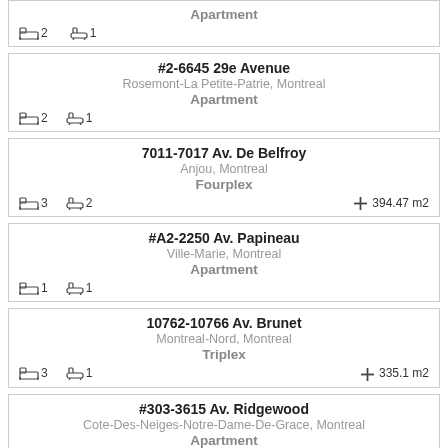Apartment — bed 2, bath 1 (partial card at top)
#2-6645 29e Avenue, Rosemont-La Petite-Patrie, Montreal — Apartment — bed 2, bath 1
7011-7017 Av. De Belfroy, Anjou, Montreal — Fourplex — bed 3, bath 2, 394.47 m2
#A2-2250 Av. Papineau, Ville-Marie, Montreal — Apartment — bed 1, bath 1
10762-10766 Av. Brunet, Montreal-Nord, Montreal — Triplex — bed 3, bath 1, 335.1 m2
#303-3615 Av. Ridgewood, Cote-Des-Neiges-Notre-Dame-De-Grace, Montreal — Apartment — bed 1, bath 1
6966 Av. Des Erables, Villeray-Saint-Michel-Parc-Extension, Montreal (partial)